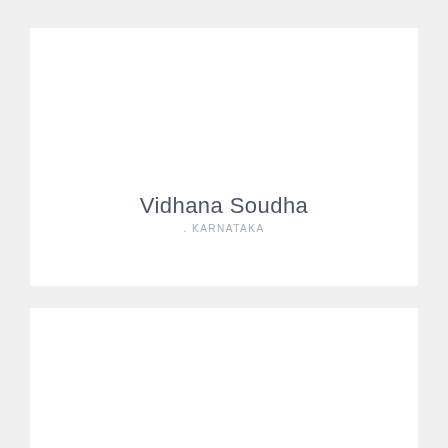Vidhana Soudha
. KARNATAKA
ISKCON temple
. KARNATAKA